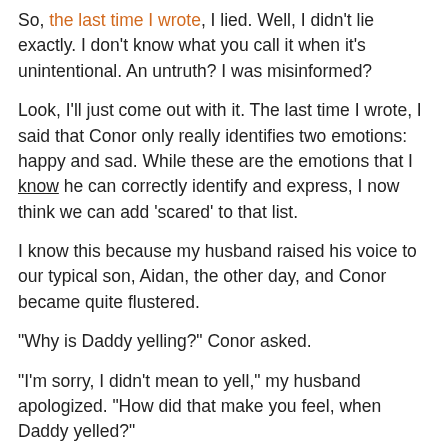So, the last time I wrote, I lied. Well, I didn't lie exactly. I don't know what you call it when it's unintentional. An untruth? I was misinformed?
Look, I'll just come out with it. The last time I wrote, I said that Conor only really identifies two emotions: happy and sad. While these are the emotions that I know he can correctly identify and express, I now think we can add 'scared' to that list.
I know this because my husband raised his voice to our typical son, Aidan, the other day, and Conor became quite flustered.
"Why is Daddy yelling?" Conor asked.
"I'm sorry, I didn't mean to yell," my husband apologized. "How did that make you feel, when Daddy yelled?"
"Scared," Conor answered, looking furtively at his younger brother who was sulking at the kitchen table. (Aidan certainly didn't look scared. More like pissed off.)